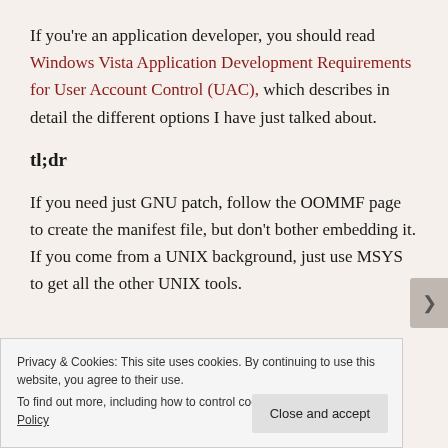If you're an application developer, you should read Windows Vista Application Development Requirements for User Account Control (UAC), which describes in detail the different options I have just talked about.
tl;dr
If you need just GNU patch, follow the OOMMF page to create the manifest file, but don't bother embedding it. If you come from a UNIX background, just use MSYS to get all the other UNIX tools.
Privacy & Cookies: This site uses cookies. By continuing to use this website, you agree to their use.
To find out more, including how to control cookies, see here: Cookie Policy